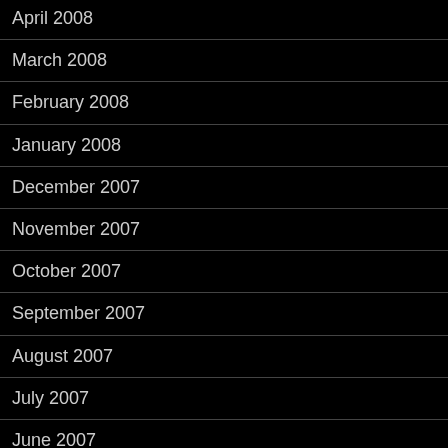April 2008
March 2008
February 2008
January 2008
December 2007
November 2007
October 2007
September 2007
August 2007
July 2007
June 2007
May 2007
April 2007